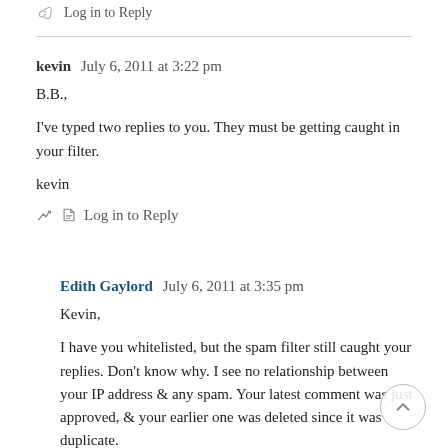Log in to Reply
kevin   July 6, 2011 at 3:22 pm
B.B.,
I've typed two replies to you. They must be getting caught in your filter.
kevin
Log in to Reply
Edith Gaylord   July 6, 2011 at 3:35 pm
Kevin,
I have you whitelisted, but the spam filter still caught your replies. Don't know why. I see no relationship between your IP address & any spam. Your latest comment was just approved, & your earlier one was deleted since it was duplicate.